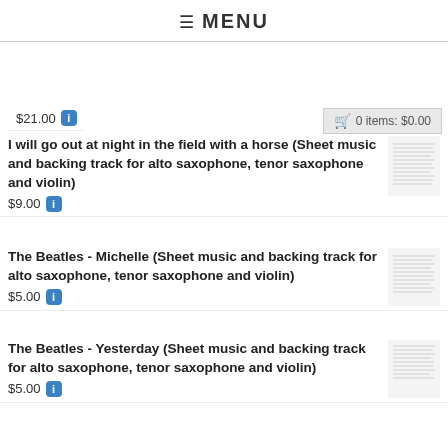≡ MENU
$21.00 [i]
I will go out at night in the field with a horse (Sheet music and backing track for alto saxophone, tenor saxophone and violin) $9.00
The Beatles - Michelle (Sheet music and backing track for alto saxophone, tenor saxophone and violin) $5.00
The Beatles - Yesterday (Sheet music and backing track for alto saxophone, tenor saxophone and violin) $5.00
Voxi & Misha Goda & Syntheticsax - Supergirl (Sheet music and backing track for alto saxophone, tenor saxophone and violin) $15.00
Dark Maiden (Sheet music and backing track for alto saxophone, tenor saxophone and violin)